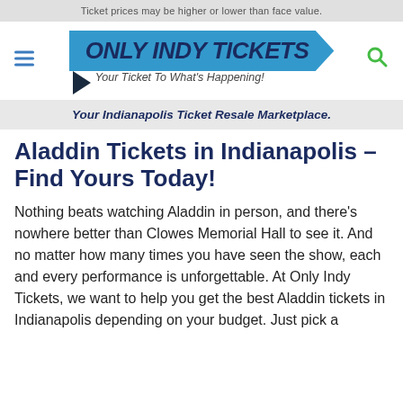Ticket prices may be higher or lower than face value.
[Figure (logo): Only Indy Tickets logo with blue banner, arrow, and tagline 'Your Ticket To What's Happening!']
Your Indianapolis Ticket Resale Marketplace.
Aladdin Tickets in Indianapolis – Find Yours Today!
Nothing beats watching Aladdin in person, and there's nowhere better than Clowes Memorial Hall to see it. And no matter how many times you have seen the show, each and every performance is unforgettable. At Only Indy Tickets, we want to help you get the best Aladdin tickets in Indianapolis depending on your budget. Just pick a